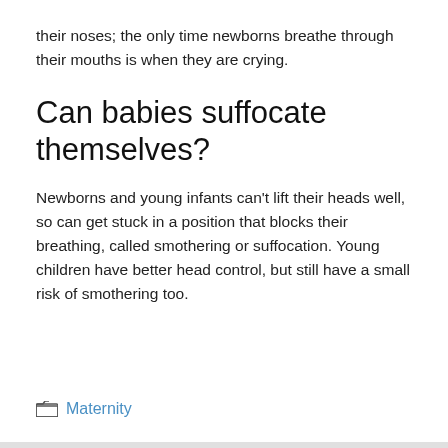their noses; the only time newborns breathe through their mouths is when they are crying.
Can babies suffocate themselves?
Newborns and young infants can't lift their heads well, so can get stuck in a position that blocks their breathing, called smothering or suffocation. Young children have better head control, but still have a small risk of smothering too.
Maternity